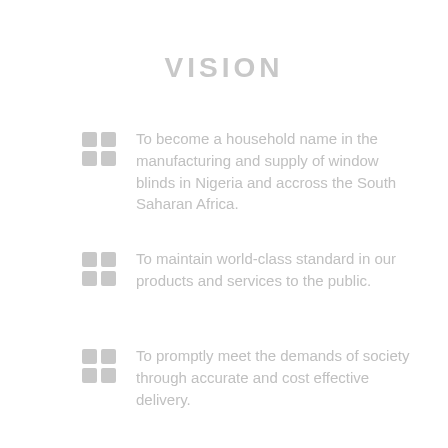VISION
To become a household name in the manufacturing and supply of window blinds in Nigeria and accross the South Saharan Africa.
To maintain world-class standard in our products and services to the public.
To promptly meet the demands of society through accurate and cost effective delivery.